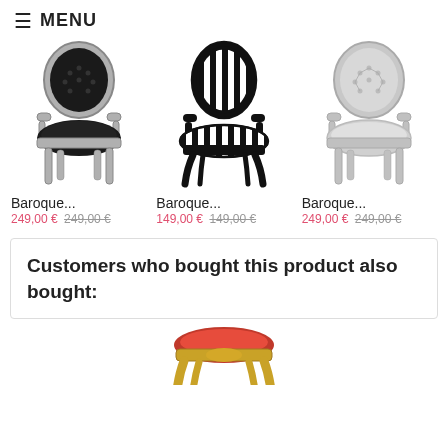≡ MENU
[Figure (photo): Baroque armchair with black upholstery and silver frame]
Baroque...
249,00 € 249,00 €
[Figure (photo): Baroque armchair with black and white striped upholstery and black frame]
Baroque...
149,00 € 149,00 €
[Figure (photo): Baroque armchair with silver upholstery and silver frame]
Baroque...
249,00 € 249,00 €
Customers who bought this product also bought:
[Figure (photo): Partial view of a baroque chair with gold frame and red upholstery at the bottom of the page]